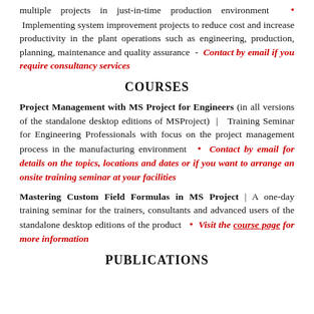multiple projects in just-in-time production environment • Implementing system improvement projects to reduce cost and increase productivity in the plant operations such as engineering, production, planning, maintenance and quality assurance - Contact by email if you require consultancy services
COURSES
Project Management with MS Project for Engineers (in all versions of the standalone desktop editions of MSProject) | Training Seminar for Engineering Professionals with focus on the project management process in the manufacturing environment • Contact by email for details on the topics, locations and dates or if you want to arrange an onsite training seminar at your facilities
Mastering Custom Field Formulas in MS Project | A one-day training seminar for the trainers, consultants and advanced users of the standalone desktop editions of the product • Visit the course page for more information
PUBLICATIONS